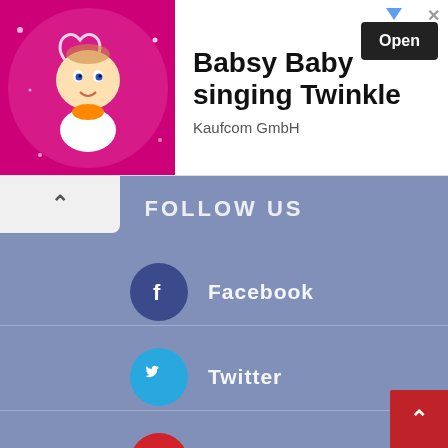[Figure (screenshot): Advertisement banner for Babsy Baby singing Twinkle app by Kaufcom GmbH, showing a cartoon baby character on pink background with an Open button]
FOLLOW US
Facebook
Twitter
Pinterest